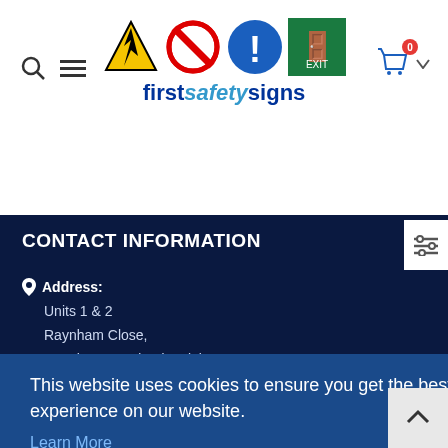[Figure (logo): First Safety Signs logo with safety sign icons (electrical hazard, prohibition, mandatory, emergency exit) and stylized text 'firstsafetysigns' in blue]
CONTACT INFORMATION
Address: Units 1 & 2, Raynham Close, Raynham Road Industrial Estate,
This website uses cookies to ensure you get the best experience on our website.
Learn More
Got it!
SUBSCRIBE TO OUR NEWSLETTER